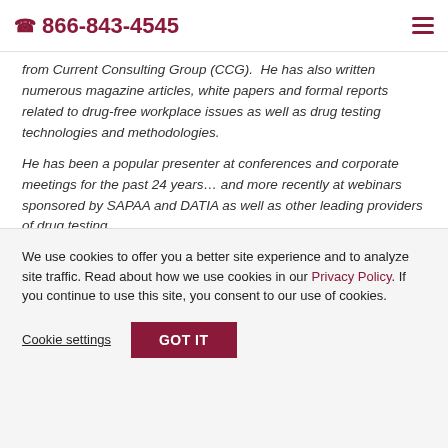📞 866-843-4545
from Current Consulting Group (CCG).  He has also written numerous magazine articles, white papers and formal reports related to drug-free workplace issues as well as drug testing technologies and methodologies.
He has been a popular presenter at conferences and corporate meetings for the past 24 years… and more recently at webinars sponsored by SAPAA and DATIA as well as other leading providers of drug testing.
We use cookies to offer you a better site experience and to analyze site traffic. Read about how we use cookies in our Privacy Policy. If you continue to use this site, you consent to our use of cookies.
Cookie settings  GOT IT